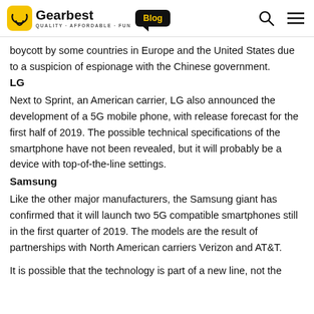Gearbest Blog
boycott by some countries in Europe and the United States due to a suspicion of espionage with the Chinese government.
LG
Next to Sprint, an American carrier, LG also announced the development of a 5G mobile phone, with release forecast for the first half of 2019. The possible technical specifications of the smartphone have not been revealed, but it will probably be a device with top-of-the-line settings.
Samsung
Like the other major manufacturers, the Samsung giant has confirmed that it will launch two 5G compatible smartphones still in the first quarter of 2019. The models are the result of partnerships with North American carriers Verizon and AT&T.
It is possible that the technology is part of a new line, not the